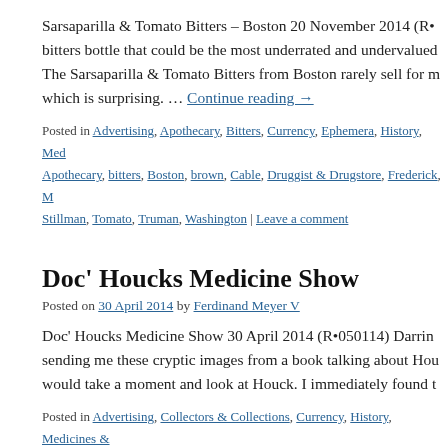Sarsaparilla & Tomato Bitters – Boston 20 November 2014 (R•... bitters bottle that could be the most underrated and undervalued... The Sarsaparilla & Tomato Bitters from Boston rarely sell for m... which is surprising. … Continue reading →
Posted in Advertising, Apothecary, Bitters, Currency, Ephemera, History, Med... Apothecary, bitters, Boston, brown, Cable, Druggist & Drugstore, Frederick, M... Stillman, Tomato, Truman, Washington | Leave a comment
Doc' Houcks Medicine Show
Posted on 30 April 2014 by Ferdinand Meyer V
Doc' Houcks Medicine Show 30 April 2014 (R•050114) Darrin... sending me these cryptic images from a book talking about Hou... would take a moment and look at Houck. I immediately found t...
Posted in Advertising, Collectors & Collections, Currency, History, Medicines... Baltimore, Botanic, coin, currency, Darrin Irwin, Frederick, Houck, Jacob, mar... Patent, show, Tennessee, token, Vegetable | Leave a comment